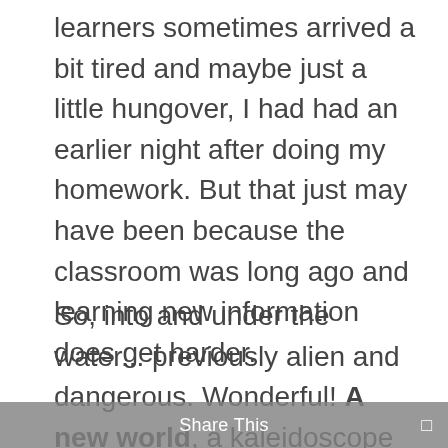learners sometimes arrived a bit tired and maybe just a little hungover, I had had an earlier night after doing my homework. But that just may have been because the classroom was long ago and learning new information does get harder.
So, into and under the water... previously alien and dangerous. Wonderful! A new world, a kaleidoscope of fish, colour and sights in good visibility and warm water. The pleasure of finding yourself in formation with a turtle or a shoal of fish helped you forget that you had no idea where you were. But, thank goodness for the...
Share This